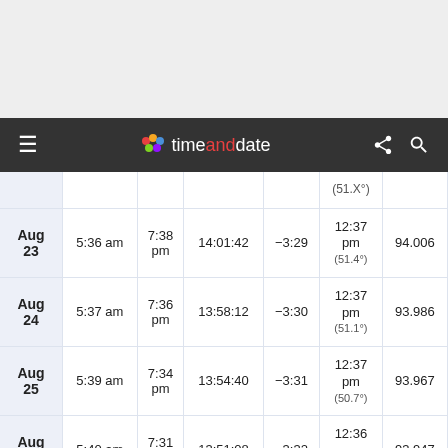[Figure (screenshot): Top gray area, partial header above nav bar]
timeanddate — navigation bar with hamburger menu, logo, share and search icons
| Date | Sunrise | Sunset | Day Length | Diff. | Solar Noon | Distance (AU) |
| --- | --- | --- | --- | --- | --- | --- |
| Aug 23 | 5:36 am | 7:38 pm | 14:01:42 | −3:29 | 12:37 pm (51.4°) | 94.006 |
| Aug 24 | 5:37 am | 7:36 pm | 13:58:12 | −3:30 | 12:37 pm (51.1°) | 93.986 |
| Aug 25 | 5:39 am | 7:34 pm | 13:54:40 | −3:31 | 12:37 pm (50.7°) | 93.967 |
| Aug 26 | 5:40 am | 7:31 pm | 13:51:08 | −3:32 | 12:36 pm (50.4°) | 93.947 |
| Aug 27 | 5:42 am | 7:29 pm | 13:47:34 | −3:33 | 12:36 pm (50.0°) | 93.926 |